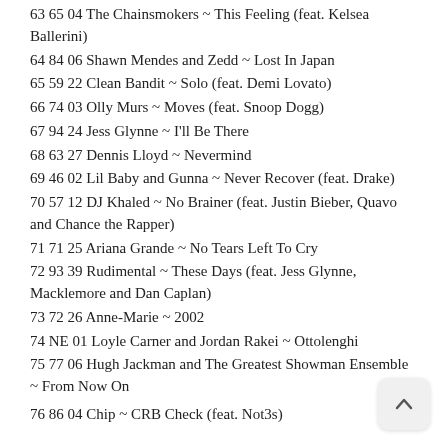63 65 04 The Chainsmokers ~ This Feeling (feat. Kelsea Ballerini)
64 84 06 Shawn Mendes and Zedd ~ Lost In Japan
65 59 22 Clean Bandit ~ Solo (feat. Demi Lovato)
66 74 03 Olly Murs ~ Moves (feat. Snoop Dogg)
67 94 24 Jess Glynne ~ I'll Be There
68 63 27 Dennis Lloyd ~ Nevermind
69 46 02 Lil Baby and Gunna ~ Never Recover (feat. Drake)
70 57 12 DJ Khaled ~ No Brainer (feat. Justin Bieber, Quavo and Chance the Rapper)
71 71 25 Ariana Grande ~ No Tears Left To Cry
72 93 39 Rudimental ~ These Days (feat. Jess Glynne, Macklemore and Dan Caplan)
73 72 26 Anne-Marie ~ 2002
74 NE 01 Loyle Carner and Jordan Rakei ~ Ottolenghi
75 77 06 Hugh Jackman and The Greatest Showman Ensemble ~ From Now On
76 86 04 Chip ~ CRB Check (feat. Not3s)